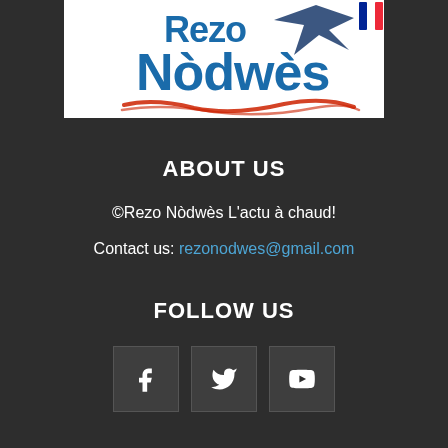[Figure (logo): Rezo Nodwes logo with blue text and red underline stroke, white background]
ABOUT US
©Rezo Nòdwès L'actu à chaud!
Contact us: rezonodwes@gmail.com
FOLLOW US
[Figure (other): Three social media icon buttons: Facebook (f), Twitter (bird), YouTube (play button)]